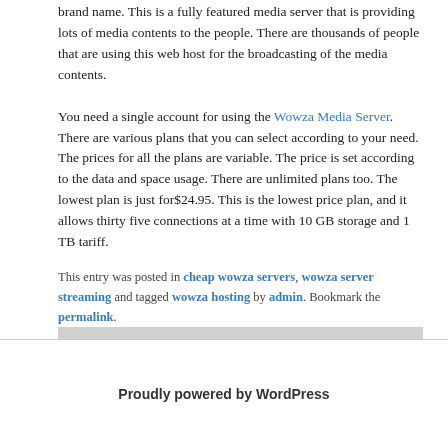brand name. This is a fully featured media server that is providing lots of media contents to the people. There are thousands of people that are using this web host for the broadcasting of the media contents. You need a single account for using the Wowza Media Server. There are various plans that you can select according to your need. The prices for all the plans are variable. The price is set according to the data and space usage. There are unlimited plans too. The lowest plan is just for$24.95. This is the lowest price plan, and it allows thirty five connections at a time with 10 GB storage and 1 TB tariff.
This entry was posted in cheap wowza servers, wowza server streaming and tagged wowza hosting by admin. Bookmark the permalink.
Proudly powered by WordPress